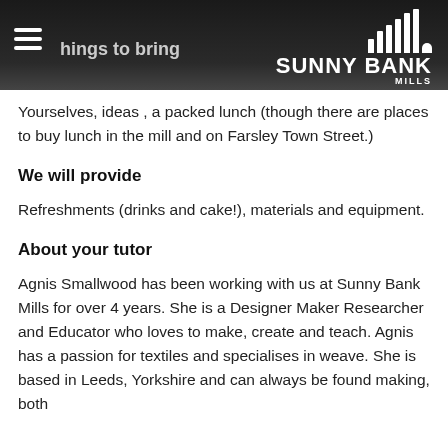Things to bring
Yourselves, ideas, a packed lunch (though there are places to buy lunch in the mill and on Farsley Town Street.)
We will provide
Refreshments (drinks and cake!), materials and equipment.
About your tutor
Agnis Smallwood has been working with us at Sunny Bank Mills for over 4 years. She is a Designer Maker Researcher and Educator who loves to make, create and teach. Agnis has a passion for textiles and specialises in weave. She is based in Leeds, Yorkshire and can always be found making, both